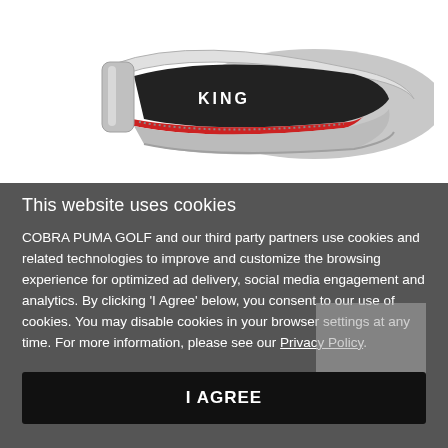[Figure (photo): Cobra Puma Golf iron club head, silver and black with red detailing and 'KING' branding, shown on white background]
This website uses cookies
COBRA PUMA GOLF and our third party partners use cookies and related technologies to improve and customize the browsing experience for optimized ad delivery, social media engagement and analytics. By clicking 'I Agree' below, you consent to our use of cookies. You may disable cookies in your browser settings at any time. For more information, please see our Privacy Policy.
I AGREE